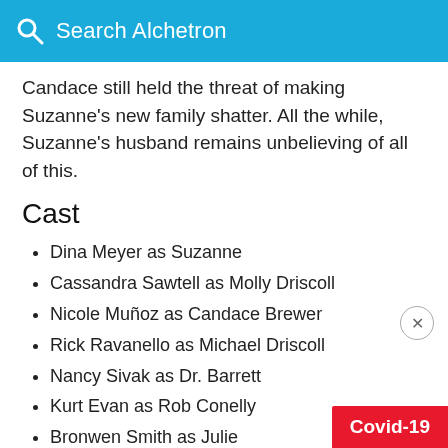Search Alchetron
Candace still held the threat of making Suzanne's new family shatter. All the while, Suzanne's husband remains unbelieving of all of this.
Cast
Dina Meyer as Suzanne
Cassandra Sawtell as Molly Driscoll
Nicole Muñoz as Candace Brewer
Rick Ravanello as Michael Driscoll
Nancy Sivak as Dr. Barrett
Kurt Evan as Rob Conelly
Bronwen Smith as Julie
Grace Vukovic as Megan
Jim Shepard as Father Phillip